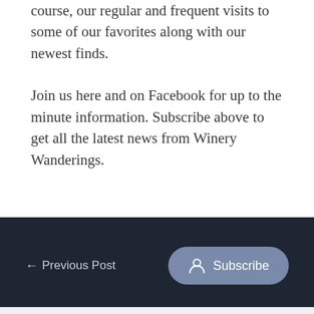course, our regular and frequent visits to some of our favorites along with our newest finds.
Join us here and on Facebook for up to the minute information. Subscribe above to get all the latest news from Winery Wanderings.
← Previous Post   Subscribe